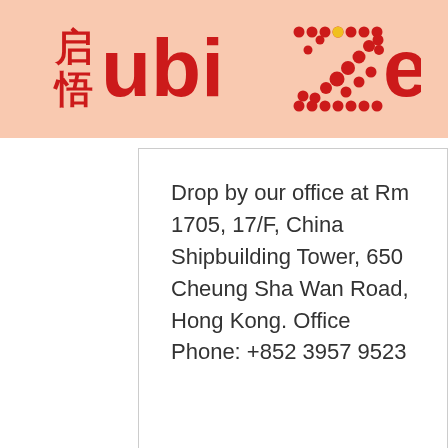[Figure (logo): ubiZense logo with Chinese characters 启悟 and stylized red text with dotted Z letter on peach/salmon background]
Drop by our office at Rm 1705, 17/F, China Shipbuilding Tower, 650 Cheung Sha Wan Road, Hong Kong. Office Phone: +852 3957 9523